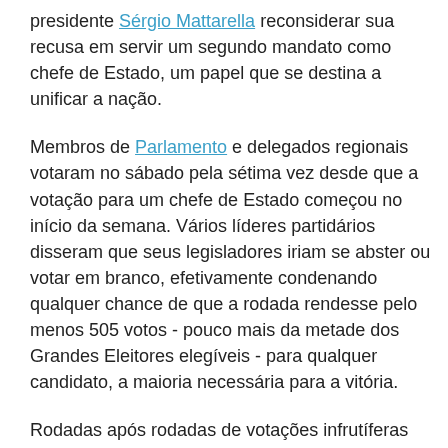presidente Sérgio Mattarella reconsiderar sua recusa em servir um segundo mandato como chefe de Estado, um papel que se destina a unificar a nação.
Membros de Parlamento e delegados regionais votaram no sábado pela sétima vez desde que a votação para um chefe de Estado começou no início da semana. Vários líderes partidários disseram que seus legisladores iriam se abster ou votar em branco, efetivamente condenando qualquer chance de que a rodada rendesse pelo menos 505 votos - pouco mais da metade dos Grandes Eleitores elegíveis - para qualquer candidato, a maioria necessária para a vitória.
Rodadas após rodadas de votações infrutíferas desde segunda-feira deixaram claras as profundas rivalidades entre os partidos na Premier Mario Draghi s ampla coalizão, formado há praticamente um ano para liderar a Itália na pandemia e ajudá-la a se recuperar economicamente, graças a bilhões em fundos prometidos da União Europeia.